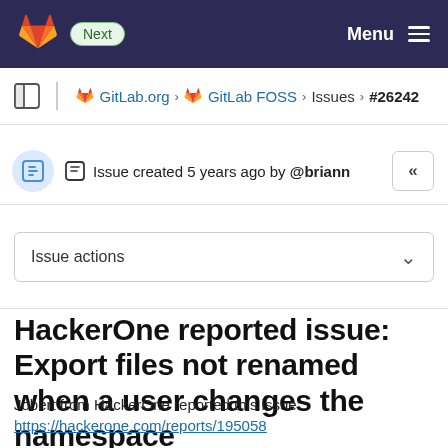GitLab — Next — Menu
GitLab.org > GitLab FOSS > Issues > #26242
Issue created 5 years ago by @briann
Issue actions
HackerOne reported issue: Export files not renamed when a user changes the namespace
Jobert from HackerOne reported this issue:
https://hackerone.com/reports/195058
Vulnerability details